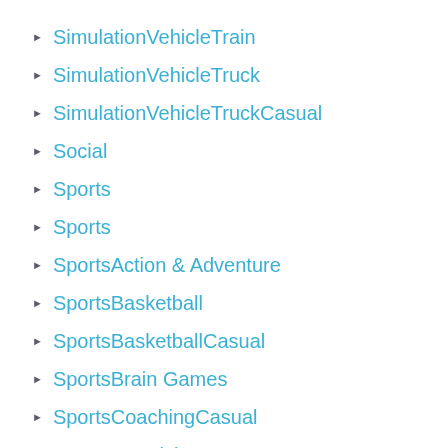SimulationVehicleTrain
SimulationVehicleTruck
SimulationVehicleTruckCasual
Social
Sports
Sports
SportsAction & Adventure
SportsBasketball
SportsBasketballCasual
SportsBrain Games
SportsCoachingCasual
SportsCreativity